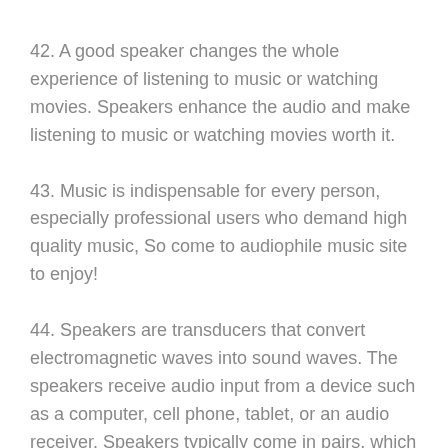42. A good speaker changes the whole experience of listening to music or watching movies. Speakers enhance the audio and make listening to music or watching movies worth it.
43. Music is indispensable for every person, especially professional users who demand high quality music, So come to audiophile music site to enjoy!
44. Speakers are transducers that convert electromagnetic waves into sound waves. The speakers receive audio input from a device such as a computer, cell phone, tablet, or an audio receiver. Speakers typically come in pairs, which allows them to produce stereo sound. This means the left and right speakers transmit audio on two completely separate channels. By using two speakers, music sounds much